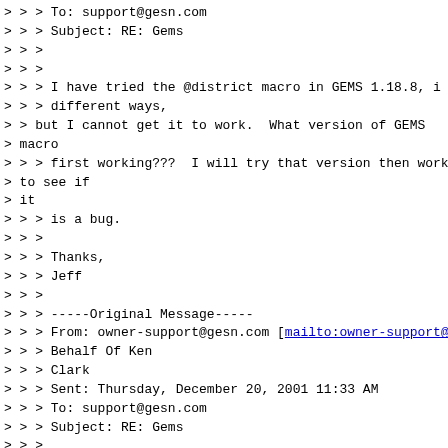> > > To: support@gesn.com
> > > Subject: RE: Gems
> > >
> > >
> > > I have tried the @district macro in GEMS 1.18.8, in
> > > different ways,
> > but I cannot get it to work.  What version of GEMS
> macro
> > > first working???  I will try that version then work
> to see if
> it
> > > is a bug.
> > >
> > > Thanks,
> > > Jeff
> > >
> > > -----Original Message-----
> > > From: owner-support@gesn.com [mailto:owner-support@
> > > Behalf Of Ken
> > > Clark
> > > Sent: Thursday, December 20, 2001 11:33 AM
> > > To: support@gesn.com
> > > Subject: RE: Gems
> > >
> > > http://staff.gesn.com/lists/rcr.w3archive/200102/ms
> > >
> > > Ken
> > >
> > >
> > >